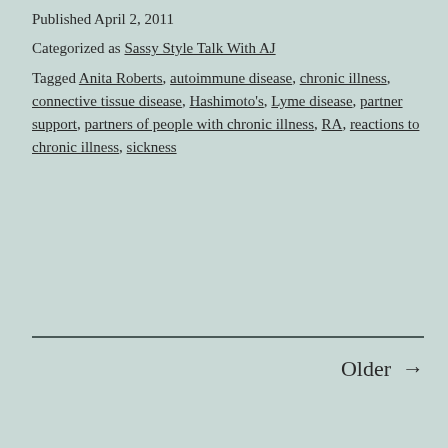Published April 2, 2011
Categorized as Sassy Style Talk With AJ
Tagged Anita Roberts, autoimmune disease, chronic illness, connective tissue disease, Hashimoto's, Lyme disease, partner support, partners of people with chronic illness, RA, reactions to chronic illness, sickness
Older →